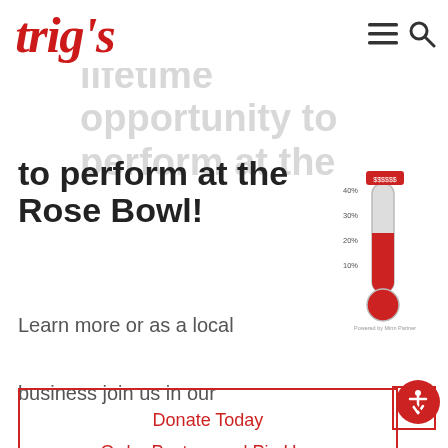Trig's logo, menu and search icons
to perform at the Rose Bowl!
[Figure (infographic): Fundraising thermometer graphic showing percentage levels at 10%, 20%, 30%, 40%, with a red filled thermometer and a small label at the top reading $$$$$$ (donation goal indicator). Labeled 'Powered by Minn Partner' at the bottom.]
Learn more or as a local business join us in our campaign!
Donate Today
Order Posters and Pin Ups